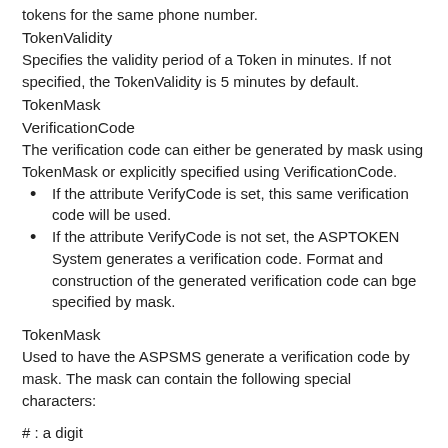tokens for the same phone number.
TokenValidity
Specifies the validity period of a Token in minutes. If not specified, the TokenValidity is 5 minutes by default.
TokenMask
VerificationCode
The verification code can either be generated by mask using TokenMask or explicitly specified using VerificationCode.
If the attribute VerifyCode is set, this same verification code will be used.
If the attribute VerifyCode is not set, the ASPTOKEN System generates a verification code. Format and construction of the generated verification code can bge specified by mask.
TokenMask
Used to have the ASPSMS generate a verification code by mask. The mask can contain the following special characters:
# : a digit